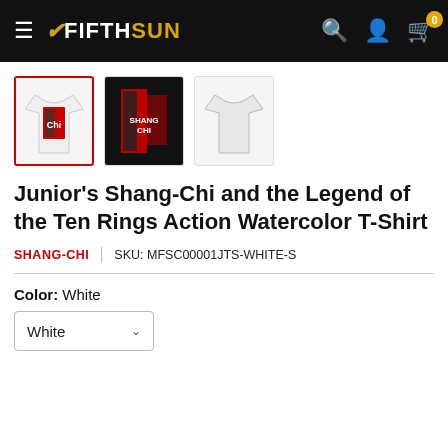Fifth Sun — navigation header with logo, search, account, and cart icons
[Figure (photo): Three product thumbnail images of a Shang-Chi Watercolor T-Shirt. First (selected, red border): white tee with red/black graphic. Second: close-up of the graphic design. Third: plain white tee.]
Junior's Shang-Chi and the Legend of the Ten Rings Action Watercolor T-Shirt
SHANG-CHI | SKU: MFSC00001JTS-WHITE-S
Color: White
White